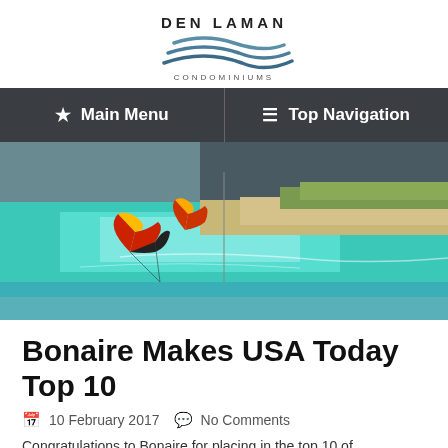[Figure (logo): Den Laman Condominiums logo with wave graphic and text]
Main Menu | Top Navigation
[Figure (photo): Aerial photograph of Bonaire showing turquoise water, kitesurfers, and sandy coastline]
Bonaire Makes USA Today Top 10
10 February 2017   No Comments
Congratulations to Bonaire for placing in the top 10 of